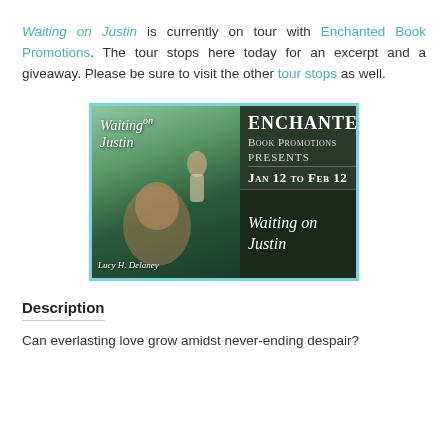Waiting on Justin is currently on tour with Enchanted Book Promotions. The tour stops here today for an excerpt and a giveaway. Please be sure to visit the other tour stops as well.
[Figure (illustration): Book tour banner for 'Waiting on Justin' by Lucy H. Delaney. Left side shows book cover with two figures in a green field. Right side shows 'Enchanted Book Promotions Presents Jan 12 to Feb 12 Waiting on Justin' text on dark background.]
Description
Can everlasting love grow amidst never-ending despair?